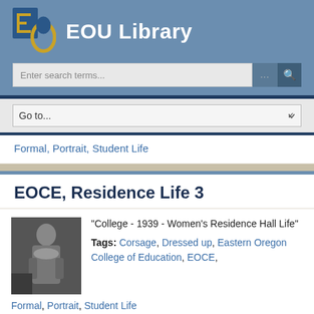[Figure (logo): EOU Library logo with stylized E and O letters in blue and gold, followed by 'EOU Library' text in white]
[Figure (screenshot): Search bar with 'Enter search terms...' placeholder text, ellipsis button, and search icon button]
[Figure (screenshot): Navigation dropdown with 'Go to...' label and chevron]
Formal, Portrait, Student Life
EOCE, Residence Life 3
[Figure (photo): Black and white photo of a woman in formal dress with corsage]
"College - 1939 - Women's Residence Hall Life"
Tags: Corsage, Dressed up, Eastern Oregon College of Education, EOCE, Formal, Portrait, Student Life